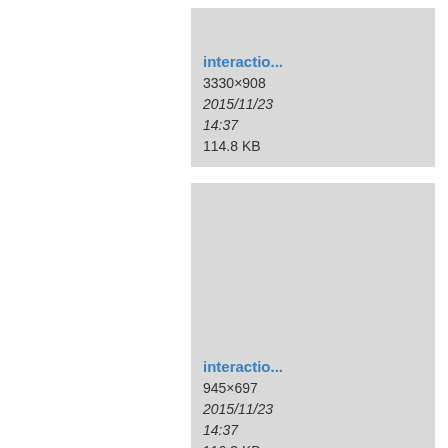[Figure (screenshot): File browser grid view showing image thumbnails with filenames starting with 'interactio...', row 1 card 1: 3330×908, 2015/11/23 14:37, 114.8 KB]
[Figure (screenshot): File browser grid view, row 1 card 2: interactio..., 3306×770, 2015/11/23 14:37, 89.1 KB]
[Figure (screenshot): File browser grid view, row 1 card 3 (partial): interactio..., partially visible]
[Figure (screenshot): File browser grid view, row 2 card 1: interactio..., 945×697, 2015/11/23 14:37, 116.3 KB]
[Figure (screenshot): File browser grid view, row 2 card 2: interactio..., 1100×280, 2015/11/23 14:37, 45.4 KB]
[Figure (screenshot): File browser grid view, row 2 card 3 (partial): 33..., 20..., 14..., 99...]
[Figure (screenshot): File browser grid view, row 3: three partial cards at bottom, no text visible]